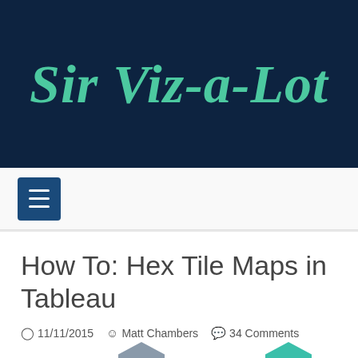[Figure (logo): Sir Viz-a-Lot blog logo: cursive teal text on dark navy background]
≡ (navigation menu button)
How To: Hex Tile Maps in Tableau
11/11/2015  Matt Chambers  34 Comments
[Figure (illustration): Partial hex tile map preview showing AK and ME hexagonal state tiles]